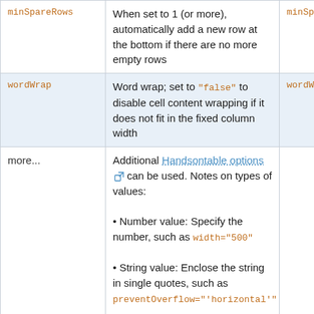| Option | Description | Truncated |
| --- | --- | --- |
| minSpareRows | When set to 1 (or more), automatically add a new row at the bottom if there are no more empty rows | minSp... |
| wordWrap | Word wrap; set to "false" to disable cell content wrapping if it does not fit in the fixed column width | wordW... |
| more... | Additional Handsontable options [link] can be used. Notes on types of values:
• Number value: Specify the number, such as width="500"
• String value: Enclose the string in single quotes, such as preventOverflow="'horizontal'"
• Boolean value: Specify "true" or "false", such as manualRowResize="true"
• Array value: Specify the array, such as manualRowResize="[40, |  |